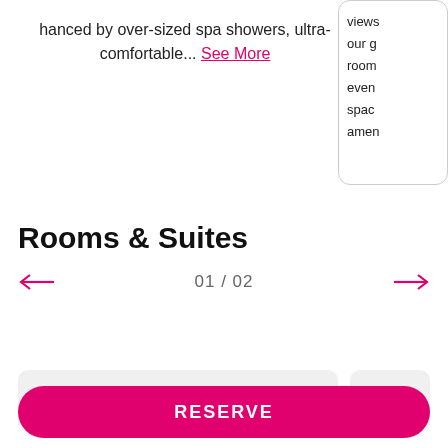hanced by over-sized spa showers, ultra-comfortable... See More
views our g room even spac amen
Rooms & Suites
01 / 02
King Guest Room
Ste-
RESERVE